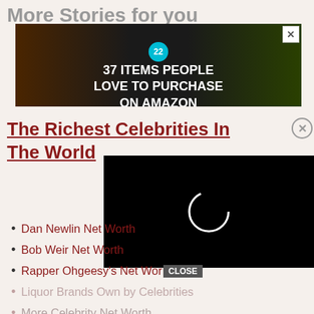More Stories for you
[Figure (photo): Advertisement banner: dark background with kitchen knives, vegetables, a teal badge with '22', and white bold text reading '37 ITEMS PEOPLE LOVE TO PURCHASE ON AMAZON'. An X close button in top right.]
The Richest Celebrities In The World
[Figure (screenshot): Black video player overlay with a circular loading spinner in white.]
Dan Newlin Net Worth
Bob Weir Net Worth
Rapper Ohgeesy's Net Worth
Liquor Brands Own by Celebrities
More Celebrity Net Worth